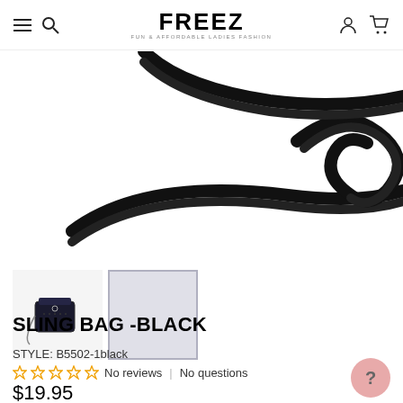FREEZ - Fun & Affordable Ladies Fashion
[Figure (photo): Close-up of black braided/textured straps of a sling bag against white background]
[Figure (photo): Thumbnail 1: Small image of black sling bag with chain strap]
[Figure (photo): Thumbnail 2: Light grey/blank placeholder image]
SLING BAG -BLACK
STYLE: B5502-1black
☆☆☆☆☆ No reviews | No questions
$19.95